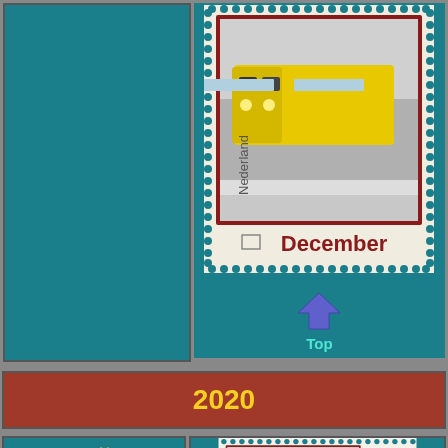[Figure (photo): Dutch postage stamp showing a yellow NS train locomotive in snowy conditions, with 'Nederland' text vertically and 'December' text at the bottom in dark red, perforated edges typical of a stamp]
Top
2020
2020 (1):
Personalised stamps
of VVNSM